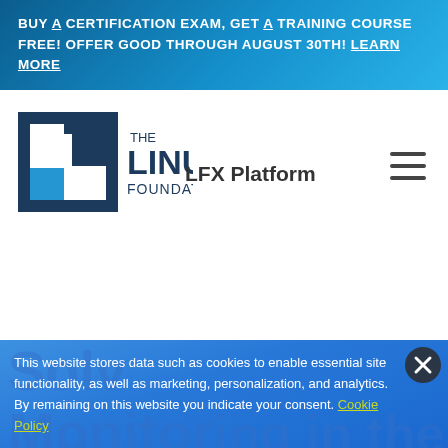BUY A CERTIFICATION EXAM, GET A TRAINING COURSE FREE! OFFER GOOD THROUGH AUGUST 30TH! LEARN MORE
[Figure (logo): The Linux Foundation logo — square bracket icon in dark blue and blue, with THE LINUX FOUNDATION wordmark]
LFX Platform
[Figure (other): Hamburger menu icon (three horizontal lines)]
This website stores data such as cookies to enable essential site functionality, as well as marketing, personalization, and analytics. By remaining on this website you indicate your consent. Cookie Policy